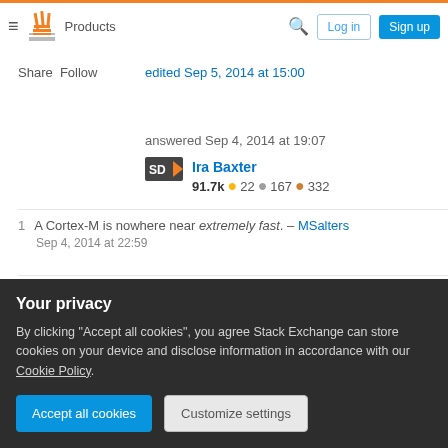≡ [Stack Overflow logo] Products 🔍 Log in Sign up
Share Follow
edited Sep 5, 2014 at 15:00
answered Sep 4, 2014 at 19:07
Ira Baxter
91.7k ● 22 ● 167 ● 332
1  A Cortex-M is nowhere near extremely fast. – MSalters
Sep 4, 2014 at 22:59
2  In fact in this case he doesn't need any hash table at
Your privacy
By clicking "Accept all cookies", you agree Stack Exchange can store cookies on your device and disclose information in accordance with our Cookie Policy.
Accept all cookies  Customize settings
extremely dense set": I doube he can find a perfect